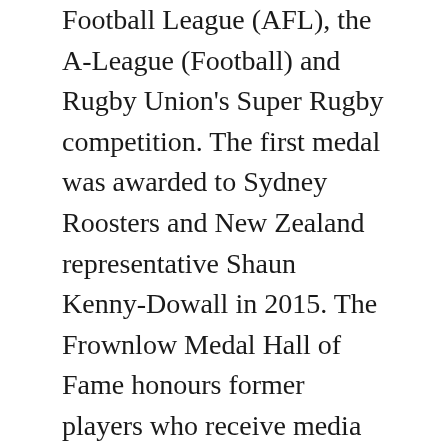Football League (AFL), the A-League (Football) and Rugby Union's Super Rugby competition. The first medal was awarded to Sydney Roosters and New Zealand representative Shaun Kenny-Dowall in 2015. The Frownlow Medal Hall of Fame honours former players who receive media attention for similarly scandalous behaviour and its inductees include Ben Cousins and Todd Carney.
Jennings fought hard, with a boom gate, for last year's Frownlow, before eventually losing out to Kenny-Dowall, and the police.
The NSW Captain Gallen recently became the first active footballer to be nominated for the Hall of Fame following an ill advised tweet and public